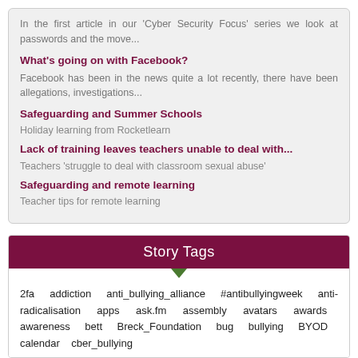In the first article in our 'Cyber Security Focus' series we look at passwords and the move...
What's going on with Facebook?
Facebook has been in the news quite a lot recently, there have been allegations, investigations...
Safeguarding and Summer Schools
Holiday learning from Rocketlearn
Lack of training leaves teachers unable to deal with...
Teachers 'struggle to deal with classroom sexual abuse'
Safeguarding and remote learning
Teacher tips for remote learning
Story Tags
2fa   addiction   anti_bullying_alliance   #antibullyingweek   anti-radicalisation   apps   ask.fm   assembly   avatars   awards   awareness   bett   Breck_Foundation   bug   bullying   BYOD   calendar   cber_bullying